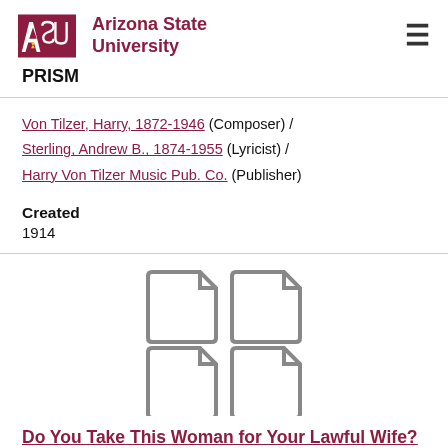ASU Arizona State University | PRISM
Von Tilzer, Harry, 1872-1946 (Composer) / Sterling, Andrew B., 1874-1955 (Lyricist) / Harry Von Tilzer Music Pub. Co. (Publisher)
Created
1914
[Figure (illustration): Four document/file icons arranged in a 2x2 grid, shown in gray outline style]
Do You Take This Woman for Your Lawful Wife?